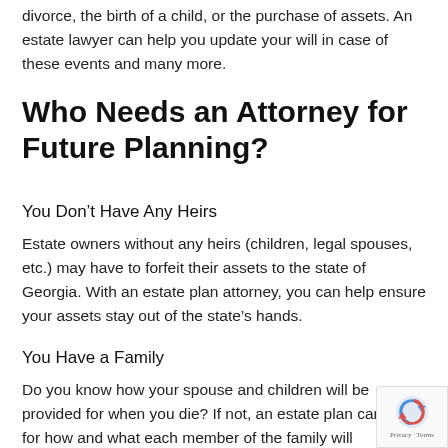divorce, the birth of a child, or the purchase of assets. An estate lawyer can help you update your will in case of these events and many more.
Who Needs an Attorney for Future Planning?
You Don’t Have Any Heirs
Estate owners without any heirs (children, legal spouses, etc.) may have to forfeit their assets to the state of Georgia. With an estate plan attorney, you can help ensure your assets stay out of the state’s hands.
You Have a Family
Do you know how your spouse and children will be provided for when you die? If not, an estate plan can terms for how and what each member of the family will